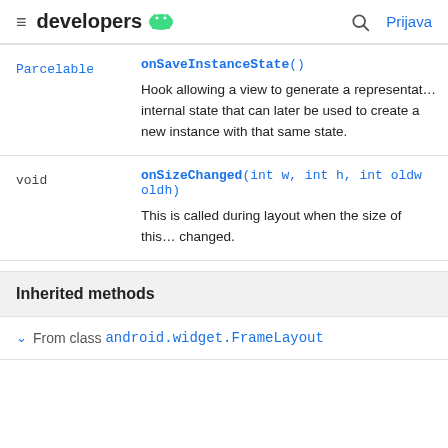≡ developers 🤖  🔍 Prijava
| Type | Method |
| --- | --- |
| Parcelable | onSaveInstanceState()
Hook allowing a view to generate a representation of its internal state that can later be used to create a new instance with that same state. |
| void | onSizeChanged(int w, int h, int oldw, oldh)
This is called during layout when the size of this view has changed. |
Inherited methods
From class android.widget.FrameLayout